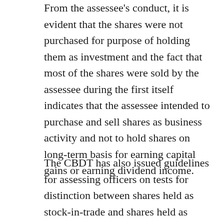From the assessee's conduct, it is evident that the shares were not purchased for purpose of holding them as investment and the fact that most of the shares were sold by the assessee during the first itself indicates that the assessee intended to purchase and sell shares as business activity and not to hold shares on long-term basis for earning capital gains or earning dividend income.
The CBDT has also issued guidelines for assessing officers on tests for distinction between shares held as stock-in-trade and shares held as investment vide office memorandum, dated 13.12.2005 [F. No. 149/287/2005-TPL] and one of the criteria mentioned therein is whether the purchase is